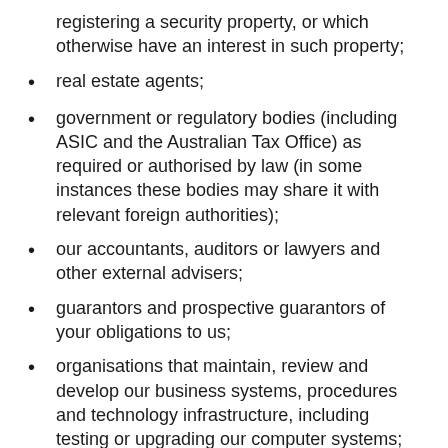registering a security property, or which otherwise have an interest in such property;
real estate agents;
government or regulatory bodies (including ASIC and the Australian Tax Office) as required or authorised by law (in some instances these bodies may share it with relevant foreign authorities);
our accountants, auditors or lawyers and other external advisers;
guarantors and prospective guarantors of your obligations to us;
organisations that maintain, review and develop our business systems, procedures and technology infrastructure, including testing or upgrading our computer systems;